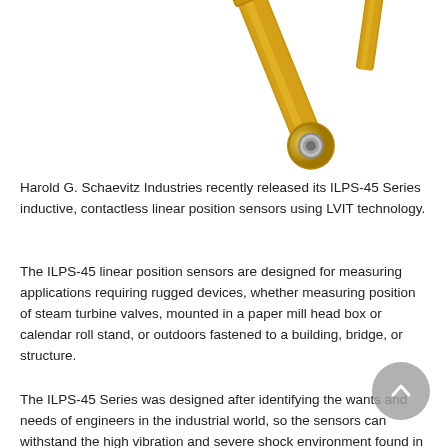[Figure (photo): Partial view of an ILPS-45 series linear position sensor component — a gold/anodized metal rod end with a spherical bearing/eye, shown against a white background, cropped at top.]
Harold G. Schaevitz Industries recently released its ILPS-45 Series inductive, contactless linear position sensors using LVIT technology.
The ILPS-45 linear position sensors are designed for measuring applications requiring rugged devices, whether measuring position of steam turbine valves, mounted in a paper mill head box or calendar roll stand, or outdoors fastened to a building, bridge, or structure.
The ILPS-45 Series was designed after identifying the wants and needs of engineers in the industrial world, so the sensors can withstand the high vibration and severe shock environment found in steel, aluminum, and paper mills, as well as extremes of temperature and humidity found in most outdoor applications,